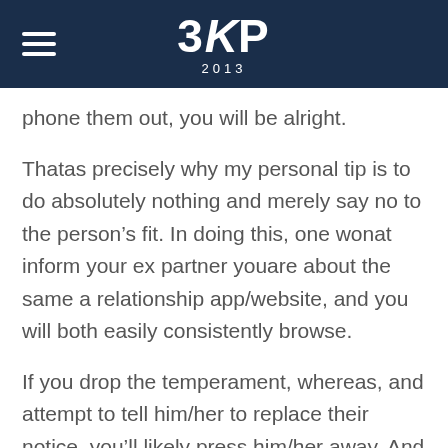3KP 2013
phone them out, you will be alright.
Thatas precisely why my personal tip is to do absolutely nothing and merely say no to the person’s fit. In doing this, one wonat inform your ex partner youare about the same a relationship app/website, and you will both easily consistently browse.
If you drop the temperament, whereas, and attempt to tell him/her to replace their notice, you’ll likely press him/her away. And thisas not something you wish to do.